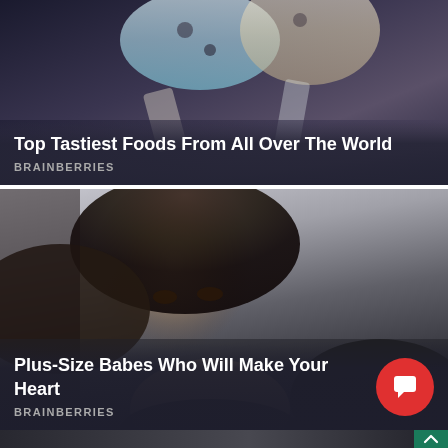[Figure (photo): Close-up photo of ice cream cones with toppings, dark background]
Top Tastiest Foods From All Over The World
BRAINBERRIES
[Figure (photo): Portrait photo of a plus-size woman with short dark hair in a black top, studio background]
Plus-Size Babes Who Will Make Your Heart
BRAINBERRIES
[Figure (photo): Partial bottom strip of a third article image, dark tones]